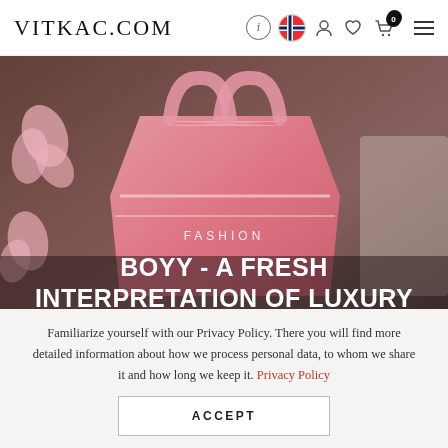VITKAC.COM
[Figure (photo): Hero image showing a pink luxury bag against a dark background with fashion editorial styling]
FASHION
BOYY - A FRESH INTERPRETATION OF LUXURY
Learn the history of the brand that has won the sympathy of fashion lovers around the world.
Familiarize yourself with our Privacy Policy. There you will find more detailed information about how we process personal data, to whom we share it and how long we keep it. Privacy Policy
ACCEPT